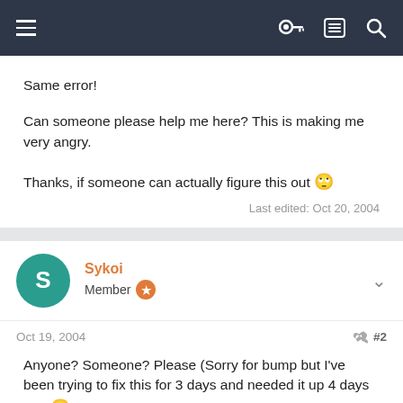Navigation bar with menu, key, list, and search icons
Same error!
Can someone please help me here? This is making me very angry.
Thanks, if someone can actually figure this out 🙄
Last edited: Oct 20, 2004
Sykoi
Member
Oct 19, 2004  #2
Anyone? Someone? Please (Sorry for bump but I've been trying to fix this for 3 days and needed it up 4 days ago 😠 )